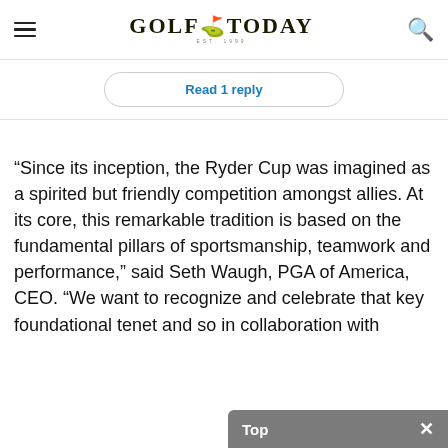GOLF TODAY
Read 1 reply
“Since its inception, the Ryder Cup was imagined as a spirited but friendly competition amongst allies. At its core, this remarkable tradition is based on the fundamental pillars of sportsmanship, teamwork and performance,” said Seth Waugh, PGA of America, CEO. “We want to recognize and celebrate that key foundational tenet and so in collaboration with